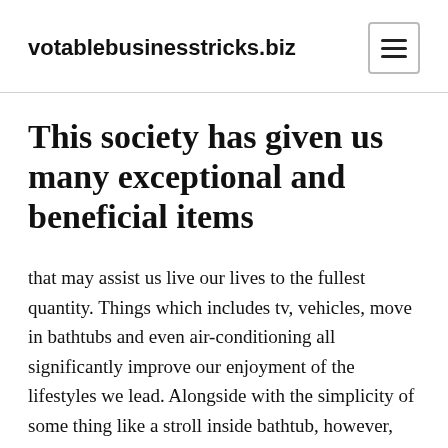votablebusinesstricks.biz
This society has given us many exceptional and beneficial items
that may assist us live our lives to the fullest quantity. Things which includes tv, vehicles, move in bathtubs and even air-conditioning all significantly improve our enjoyment of the lifestyles we lead. Alongside with the simplicity of some thing like a stroll inside bathtub, however, there were some more plus more odd technology, the usage of which is growing a great increasing number